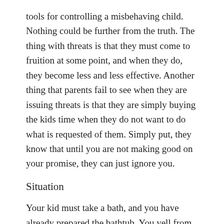tools for controlling a misbehaving child. Nothing could be further from the truth. The thing with threats is that they must come to fruition at some point, and when they do, they become less and less effective. Another thing that parents fail to see when they are issuing threats is that they are simply buying the kids time when they do not want to do what is requested of them. Simply put, they know that until you are not making good on your promise, they can just ignore you.
Situation
Your kid must take a bath, and you have already prepared the bathtub. You yell from the bathroom:
“The bath is ready! Get in here right now!”